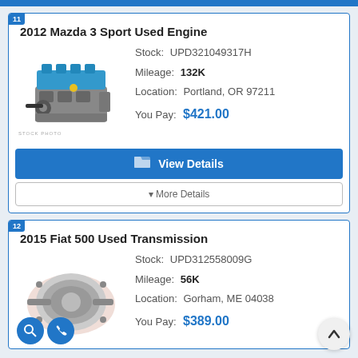11
2012 Mazda 3 Sport Used Engine
Stock: UPD321049317H
Mileage: 132K
Location: Portland, OR 97211
You Pay: $421.00
[Figure (photo): Stock photo of a used car engine with blue intake manifold, STOCK PHOTO watermark]
View Details
▼ More Details
12
2015 Fiat 500 Used Transmission
Stock: UPD312558009G
Mileage: 56K
Location: Gorham, ME 04038
You Pay: $389.00
[Figure (photo): Photo of a used transmission with search and phone icon buttons overlaid]